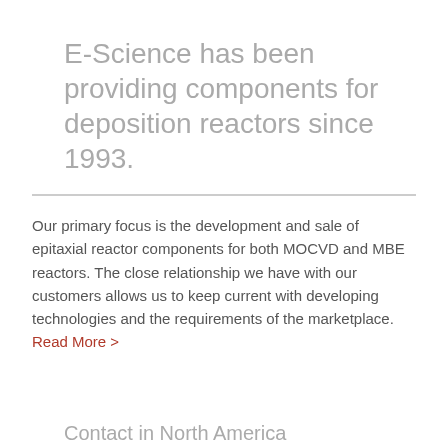E-Science has been providing components for deposition reactors since 1993.
Our primary focus is the development and sale of epitaxial reactor components for both MOCVD and MBE reactors. The close relationship we have with our customers allows us to keep current with developing technologies and the requirements of the marketplace. Read More >
Contact in North America
E-Science Inc.
596 Schommer Drive, Suite 100 Hudson, WI 54016
Tel 715.381.1899
Fax 715.381.1866
info@escience.com